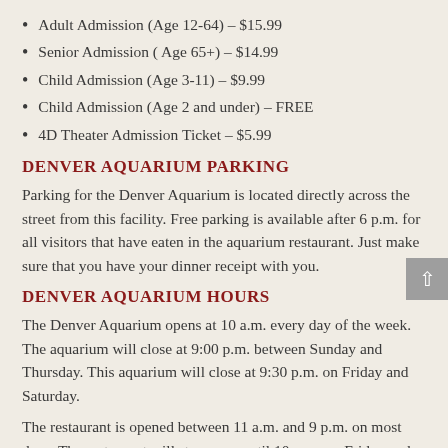Adult Admission (Age 12-64) – $15.99
Senior Admission ( Age 65+) – $14.99
Child Admission (Age 3-11) – $9.99
Child Admission (Age 2 and under) – FREE
4D Theater Admission Ticket – $5.99
DENVER AQUARIUM PARKING
Parking for the Denver Aquarium is located directly across the street from this facility. Free parking is available after 6 p.m. for all visitors that have eaten in the aquarium restaurant. Just make sure that you have your dinner receipt with you.
DENVER AQUARIUM HOURS
The Denver Aquarium opens at 10 a.m. every day of the week. The aquarium will close at 9:00 p.m. between Sunday and Thursday. This aquarium will close at 9:30 p.m. on Friday and Saturday.
The restaurant is opened between 11 a.m. and 9 p.m. on most days. The restaurant will stay open until 10 p.m. on Friday and Saturday nights.